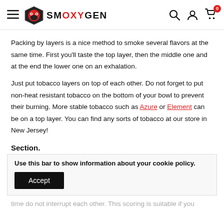SMOXYGEN — navigation header with hamburger menu, logo, search, account, and cart icons
Packing by layers is a nice method to smoke several flavors at the same time. First you'll taste the top layer, then the middle one and at the end the lower one on an exhalation.
Just put tobacco layers on top of each other. Do not forget to put non-heat resistant tobacco on the bottom of your bowl to prevent their burning. More stable tobacco such as Azure or Element can be on a top layer. You can find any sorts of tobacco at our store in New Jersey!
Section.
Use this bar to show information about your cookie policy.
time do not interrupt each other. This scoring is suitable if you